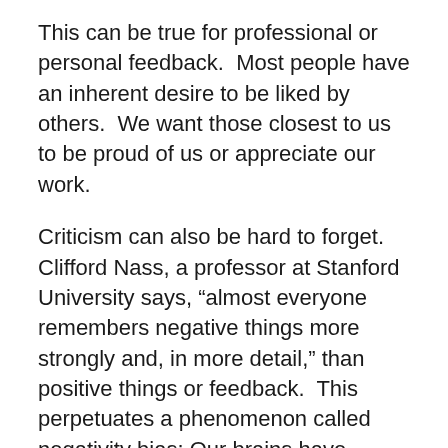This can be true for professional or personal feedback.  Most people have an inherent desire to be liked by others.  We want those closest to us to be proud of us or appreciate our work.
Criticism can also be hard to forget.  Clifford Nass, a professor at Stanford University says, “almost everyone remembers negative things more strongly and, in more detail,” than positive things or feedback.  This perpetuates a phenomenon called negativity bias: Our brains have evolved separate, more sensitive brain circuits to handle negative information and events, and they process the bad stuff more thoroughly than positive things. That means receiving criticism will always have